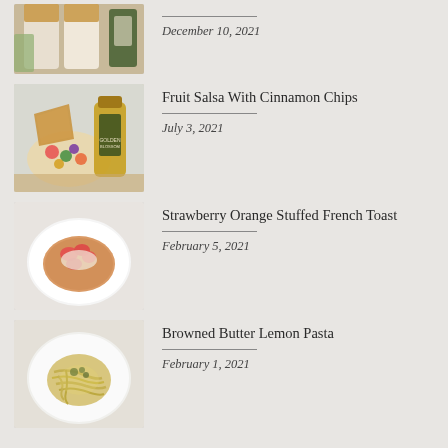[Figure (photo): Partial view of a food photo (top of page, cropped) showing dessert cups with layered cream]
December 10, 2021
[Figure (photo): Food photo showing fruit salsa with cinnamon chips, a bottle of Golden Blossom honey]
Fruit Salsa With Cinnamon Chips
July 3, 2021
[Figure (photo): Food photo showing strawberry orange stuffed french toast on a white plate]
Strawberry Orange Stuffed French Toast
February 5, 2021
[Figure (photo): Food photo showing browned butter lemon pasta on a white plate]
Browned Butter Lemon Pasta
February 1, 2021